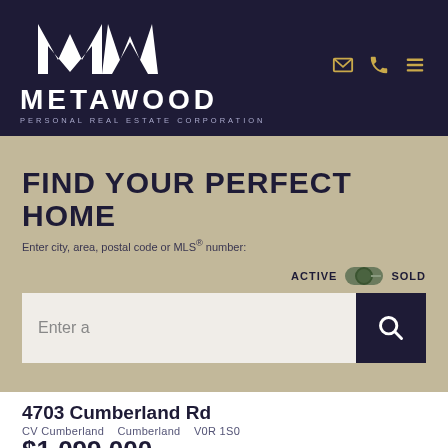[Figure (logo): Metawood Personal Real Estate Corporation logo — white M and W lettermark on dark navy background, with METAWOOD wordmark and PERSONAL REAL ESTATE CORPORATION tagline]
FIND YOUR PERFECT HOME
Enter city, area, postal code or MLS® number:
ACTIVE  SOLD (toggle)
Enter a
4703 Cumberland Rd
CV Cumberland   Cumberland   V0R 1S0
$1,099,000